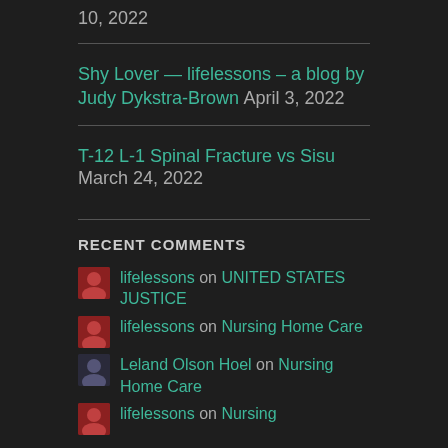10, 2022
Shy Lover — lifelessons – a blog by Judy Dykstra-Brown April 3, 2022
T-12 L-1 Spinal Fracture vs Sisu March 24, 2022
RECENT COMMENTS
lifelessons on UNITED STATES JUSTICE
lifelessons on Nursing Home Care
Leland Olson Hoel on Nursing Home Care
lifelessons on Nursing Home Care